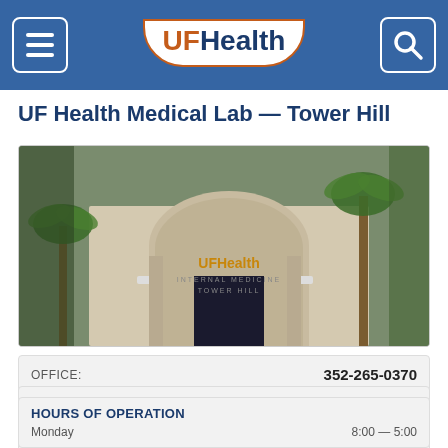UF Health (navigation header with logo, menu, and search icons)
UF Health Medical Lab — Tower Hill
[Figure (photo): Exterior photo of UF Health Internal Medicine Tower Hill building with arched entrance and palm trees]
OFFICE: 352-265-0370
FAX: 352-265-0336
ADDRESS: 7540 West University Avenue, Gainesville, FL 32608
HOURS OF OPERATION
Monday 8:00 — 5:00